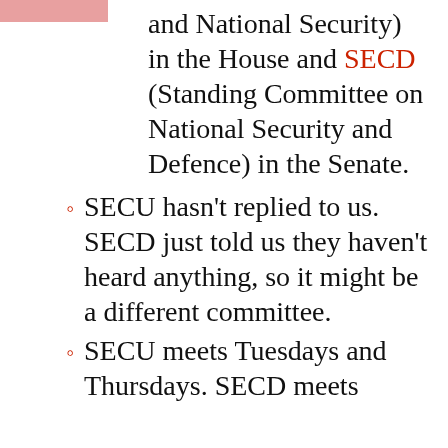and National Security) in the House and SECD (Standing Committee on National Security and Defence) in the Senate.
SECU hasn't replied to us. SECD just told us they haven't heard anything, so it might be a different committee.
SECU meets Tuesdays and Thursdays. SECD meets